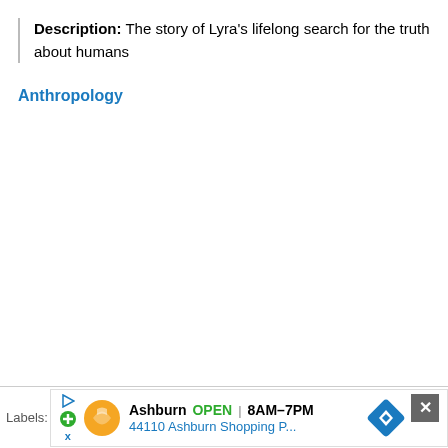Description: The story of Lyra's lifelong search for the truth about humans
Anthropology
Labels: Ashburn OPEN 8AM–7PM 44110 Ashburn Shopping P...